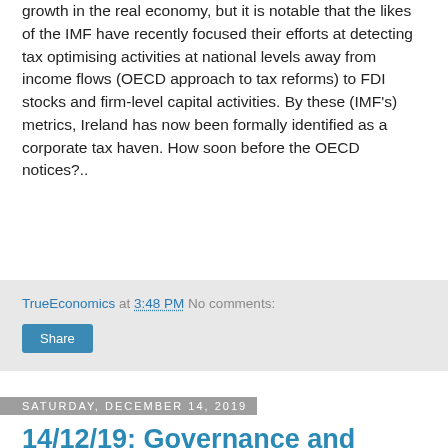growth in the real economy, but it is notable that the likes of the IMF have recently focused their efforts at detecting tax optimising activities at national levels away from income flows (OECD approach to tax reforms) to FDI stocks and firm-level capital activities. By these (IMF's) metrics, Ireland has now been formally identified as a corporate tax haven. How soon before the OECD notices?..
TrueEconomics at 3:48 PM   No comments:
Share
Saturday, December 14, 2019
14/12/19: Governance and Government Debt
What I am reading this week: a new paper via EFMA, titled "Governance and Government Debt" by João Imaginário and Maria João Guedes, available